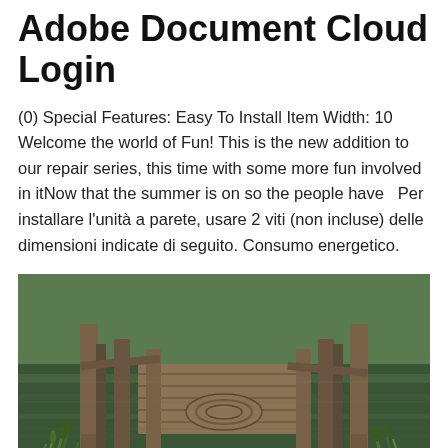Adobe Document Cloud Login
(0) Special Features: Easy To Install Item Width: 10 Welcome the world of Fun! This is the new addition to our repair series, this time with some more fun involved in itNow that the summer is on so the people have  Per installare l'unità a parete, usare 2 viti (non incluse) delle dimensioni indicate di seguito. Consumo energetico.
[Figure (photo): A weathered wooden dock/pier extending into a calm green reflective lake, surrounded by wooden posts, with green reeds/plants in the foreground and trees reflected in the water.]